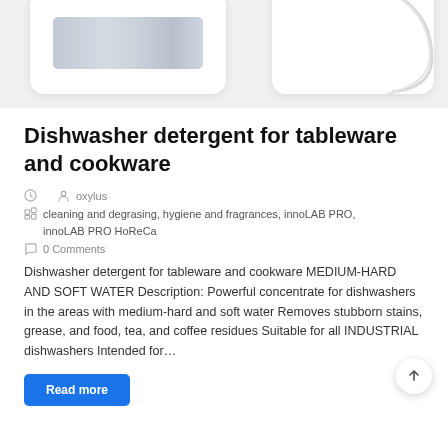[Figure (photo): Product image cards showing dishwasher detergent product photos on light grey background, two white rounded card shapes]
Dishwasher detergent for tableware and cookware
oxylus
cleaning and degrasing, hygiene and fragrances, innoLAB PRO, innoLAB PRO HoReCa
0 Comments
Dishwasher detergent for tableware and cookware MEDIUM-HARD AND SOFT WATER Description: Powerful concentrate for dishwashers in the areas with medium-hard and soft water Removes stubborn stains, grease, and food, tea, and coffee residues Suitable for all INDUSTRIAL dishwashers Intended for…
Read more